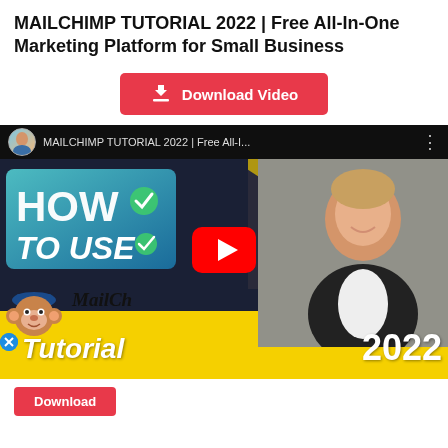MAILCHIMP TUTORIAL 2022 | Free All-In-One Marketing Platform for Small Business
[Figure (screenshot): A red 'Download Video' button with a download icon]
[Figure (screenshot): YouTube video thumbnail for MAILCHIMP TUTORIAL 2022 | Free All-In-One Marketing Platform for Small Business. Shows 'HOW TO USE MailChimp Tutorial 2022' text, a smiling man, Mailchimp monkey mascot, and YouTube play button.]
[Figure (screenshot): Partially visible red button at bottom of page]